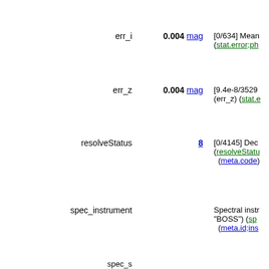err_i | 0.004 mag | [0/634] Mean (stat.error;ph
err_z | 0.004 mag | [9.4e-8/3529 (err_z) (stat.e
resolveStatus | 8 | [0/4145] Dec (resolveStatu (meta.code)
spec_instrument | | Spectral instr "BOSS") (sp (meta.id;ins
spec_sourceType | | Source type n (Note 8) (sr
spec_z | | (i) [-0.012/7.6 redshift (whe (Note 6) (sr
spec_zErr | | [-6/30689] M (negative for (Note 6) (st
spec_zWarning | | [0/902] Zwar (spec_zWarm (meta.code)
spec_class | | Spectroscopi